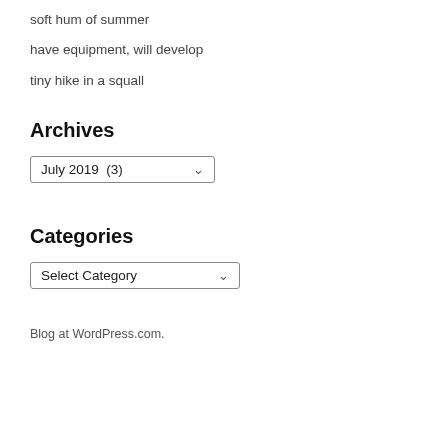soft hum of summer
have equipment, will develop
tiny hike in a squall
Archives
July 2019  (3)
Categories
Select Category
Blog at WordPress.com.